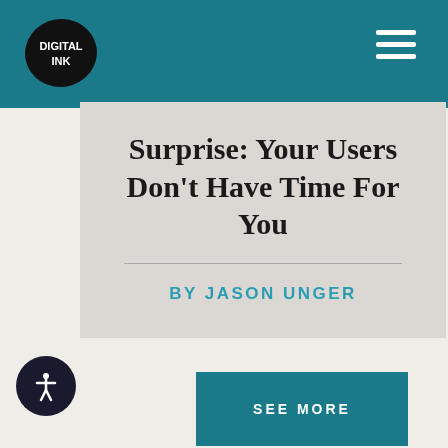DIGITAL INK
Surprise: Your Users Don't Have Time For You
BY JASON UNGER
SEE MORE